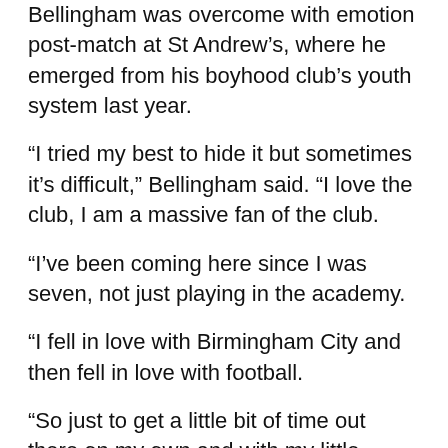Bellingham was overcome with emotion post-match at St Andrew's, where he emerged from his boyhood club's youth system last year.
“I tried my best to hide it but sometimes it’s difficult,” Bellingham said. “I love the club, I am a massive fan of the club.
“I’ve been coming here since I was seven, not just playing in the academy.
“I fell in love with Birmingham City and then fell in love with football.
“So just to get a little bit of time out there on my own and with my little brother, mum and dad meant the